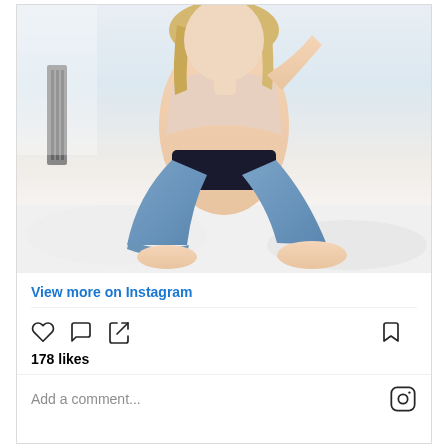[Figure (photo): A woman with blonde hair sitting cross-legged on a white bed, wearing a light beige/nude bralette and dark high-waisted shorts with blue jeans, photographed from shoulders down in a bright room with a radiator visible in the background.]
View more on Instagram
178 likes
Add a comment...